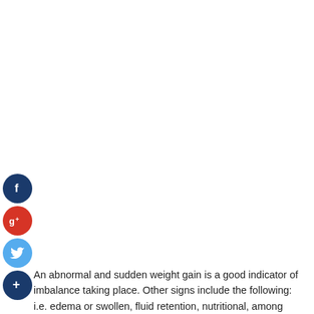[Figure (other): Social media share buttons: Facebook (dark blue circle with 'f'), Google+ (red circle with 'g+'), Twitter (light blue circle with bird), and a dark blue circle with '+' (add/share button)]
An abnormal and sudden weight gain is a good indicator of imbalance taking place. Other signs include the following: i.e. edema or swollen, fluid retention, nutritional, among others.